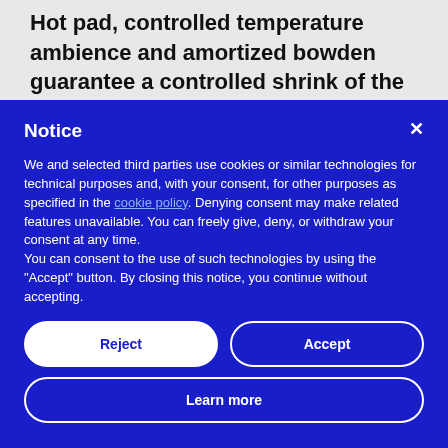Hot pad, controlled temperature ambience and amortized bowden guarantee a controlled shrink of the material and better results in the
Notice
We and selected third parties use cookies or similar technologies for technical purposes and, with your consent, for other purposes as specified in the cookie policy. Denying consent may make related features unavailable. You can freely give, deny, or withdraw your consent at any time. You can consent to the use of such technologies by using the "Accept" button. By closing this notice, you continue without accepting.
Reject
Accept
Learn more